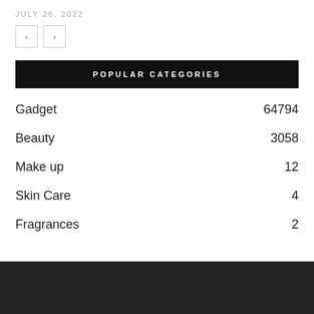JULY 26, 2022
< >
POPULAR CATEGORIES
Gadget 64794
Beauty 3058
Make up 12
Skin Care 4
Fragrances 2